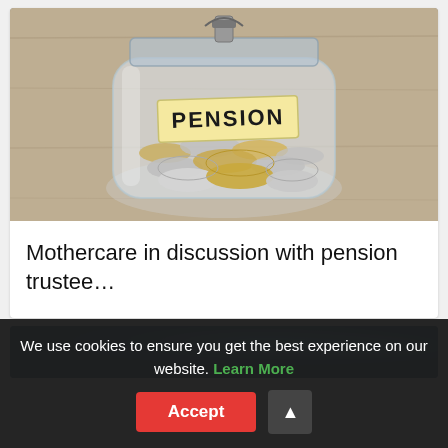[Figure (photo): A glass jar filled with coins, with a label reading 'PENSION' in handwritten capital letters, sitting on a wooden surface.]
Mothercare in discussion with pension trustee…
[Figure (photo): Partial view of a blue-toned image, partially obscured by the cookie consent bar.]
We use cookies to ensure you get the best experience on our website. Learn More